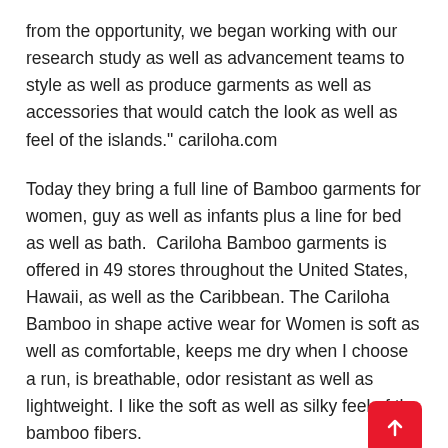from the opportunity, we began working with our research study as well as advancement teams to style as well as produce garments as well as accessories that would catch the look as well as feel of the islands." cariloha.com
Today they bring a full line of Bamboo garments for women, guy as well as infants plus a line for bed as well as bath.  Cariloha Bamboo garments is offered in 49 stores throughout the United States, Hawaii, as well as the Caribbean. The Cariloha Bamboo in shape active wear for Women is soft as well as comfortable, keeps me dry when I choose a run, is breathable, odor resistant as well as lightweight. I like the soft as well as silky feel of the bamboo fibers.
Cariloha likewise brings the softest a lot of comfortable